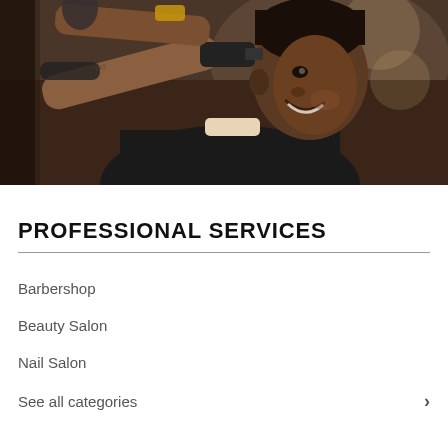[Figure (photo): A barber cutting the hair of a smiling young man wearing a black cape in a barbershop setting]
PROFESSIONAL SERVICES
Barbershop
Beauty Salon
Nail Salon
See all categories